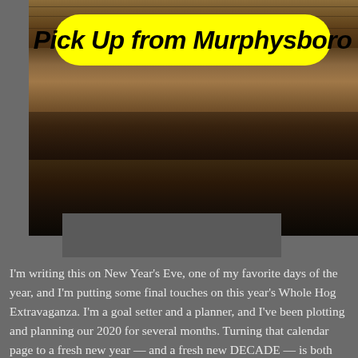[Figure (photo): Photograph of weathered wooden boards/planks with a yellow pill-shaped badge overlay reading 'Pick Up from Murphysboro' in bold italic script font. The wood texture shows rustic, aged timber with dark shadowing toward the bottom of the image.]
I'm writing this on New Year's Eve, one of my favorite days of the year, and I'm putting some final touches on this year's Whole Hog Extravaganza. I'm a goal setter and a planner, and I've been plotting and planning our 2020 for several months. Turning that calendar page to a fresh new year — and a fresh new DECADE — is both symbolic and refreshing for me. In order to make the most of every opportunity that comes our way — and